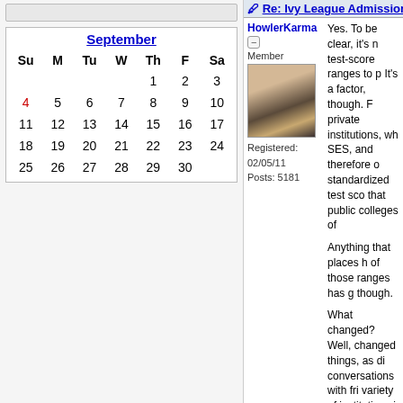| Su | M | Tu | W | Th | F | Sa |
| --- | --- | --- | --- | --- | --- | --- |
|  |  |  |  | 1 | 2 | 3 |
| 4 | 5 | 6 | 7 | 8 | 9 | 10 |
| 11 | 12 | 13 | 14 | 15 | 16 | 17 |
| 18 | 19 | 20 | 21 | 22 | 23 | 24 |
| 25 | 26 | 27 | 28 | 29 | 30 |  |
HowlerKarma
Member
Registered: 02/05/11
Posts: 5181
Yes. To be clear, it's not that Ivies use test-score ranges to place students. It's a factor, though. Private institutions, which correlate with SES, and therefore don't need to use standardized test scores the same way that public colleges often do.

Anything that places higher than the top of those ranges has gotten a boost, though.

What changed? Well, a number of things changed things, as did having conversations with friends at a wide variety of institutions in the UC system were originally on DD, they were just told that they need to keep their retention high... to show strength, and in the end, conversations with untenured teaching colleagues.

The internship. Well, these internships - highly selective (15- for the INTEL and Go

DD does love the aca she is aware and arti stimulating/rigorous f